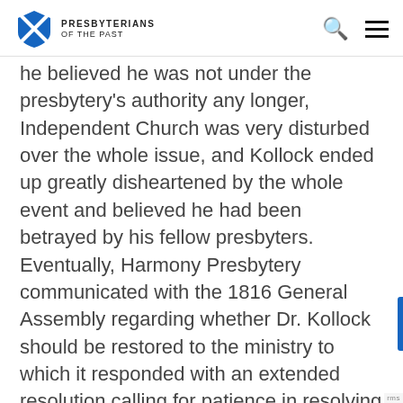Presbyterians of the Past
he believed he was not under the presbytery's authority any longer, Independent Church was very disturbed over the whole issue, and Kollock ended up greatly disheartened by the whole event and believed he had been betrayed by his fellow presbyters. Eventually, Harmony Presbytery communicated with the 1816 General Assembly regarding whether Dr. Kollock should be restored to the ministry to which it responded with an extended resolution calling for patience in resolving the situation (see Appendix for assembly's resolution). Thus, one of the factors that contributed to Independent Presbyterian